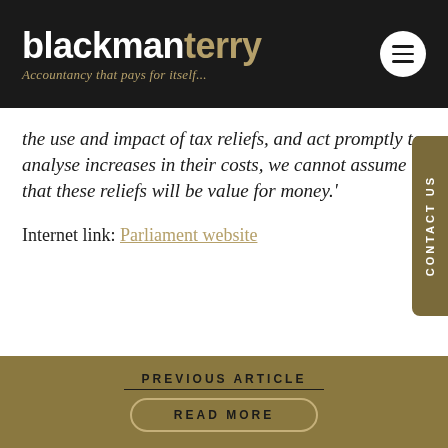blackmanterry — Accountancy that pays for itself...
the use and impact of tax reliefs, and act promptly to analyse increases in their costs, we cannot assume that these reliefs will be value for money.'
Internet link: Parliament website
PREVIOUS ARTICLE
READ MORE